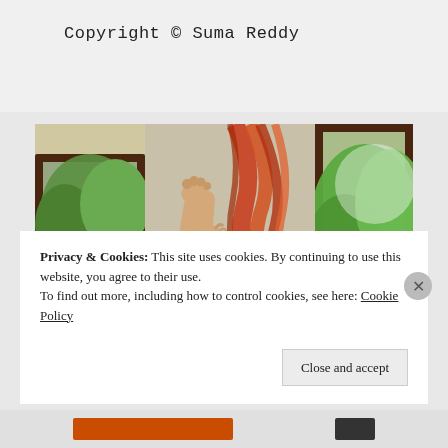Copyright © Suma Reddy
[Figure (illustration): An illustrated/anime-style scene showing a room with a window, orange-red curtains tied in a knot, green trees visible outside, warm sunlight on the floor, and a person's legs raised up against the wall near the curtain.]
Privacy & Cookies: This site uses cookies. By continuing to use this website, you agree to their use.
To find out more, including how to control cookies, see here: Cookie Policy
Close and accept